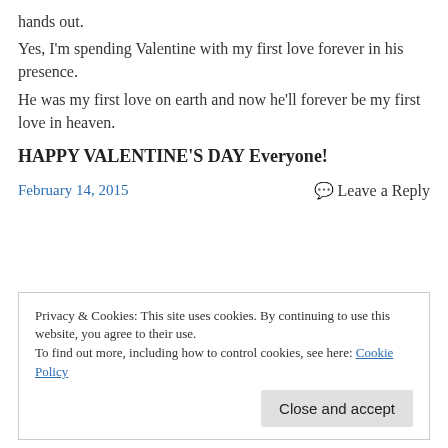hands out.
Yes, I'm spending Valentine with my first love forever in his presence.
He was my first love on earth and now he'll forever be my first love in heaven.
HAPPY VALENTINE'S DAY Everyone!
February 14, 2015
Leave a Reply
Privacy & Cookies: This site uses cookies. By continuing to use this website, you agree to their use. To find out more, including how to control cookies, see here: Cookie Policy
Close and accept